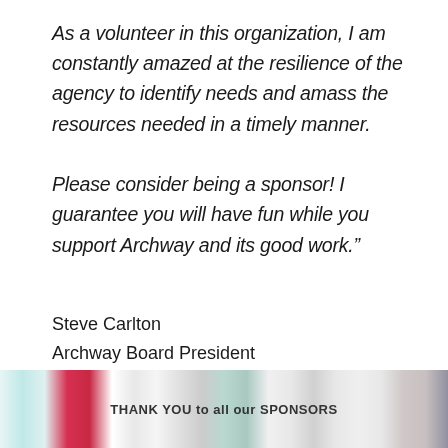As a volunteer in this organization, I am constantly amazed at the resilience of the agency to identify needs and amass the resources needed in a timely manner.

Please consider being a sponsor! I guarantee you will have fun while you support Archway and its good work."
Steve Carlton
Archway Board President
[Figure (photo): A photo strip at the bottom of the page showing a colorful banner with text 'THANK YOU to all our SPONSORS']